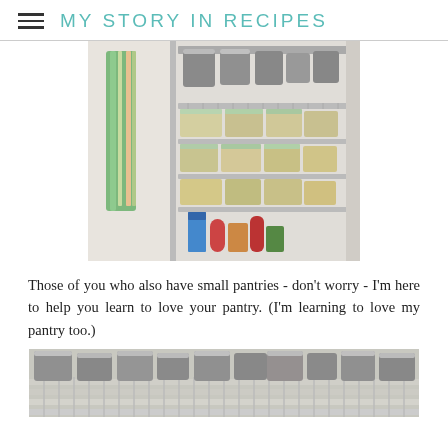MY STORY IN RECIPES
[Figure (photo): A pantry closet open showing wire shelves with stainless steel pots on top and clear plastic food storage containers on lower shelves. An apron hangs on the left door.]
Those of you who also have small pantries - don't worry - I'm here to help you learn to love your pantry. (I'm learning to love my pantry too.)
[Figure (photo): Close-up of wire pantry shelves holding multiple stainless steel pots and containers.]